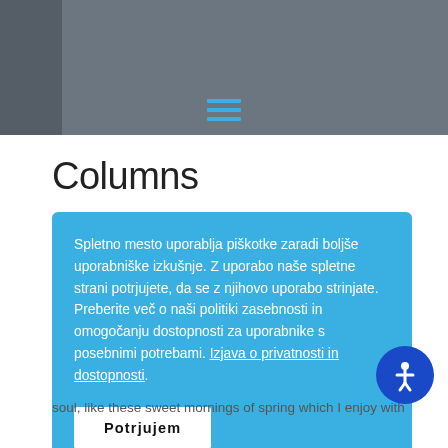[Navigation header with hamburger menu icon]
Columns
Spletno mesto uporablja piškotke zaradi boljše uporabniške izkušnje. Z uporabo naše spletne strani potrjujete, da se z njihovo uporabo strinjate. Preberite več o naši politiki zasebnosti in omogočanju dostopnosti za uporabnike s posebnimi potrebami. Izjava o privatnosti in dostopnosti.
Potrjujem
soul, like these sweet mornings of spring which I enjoy with...